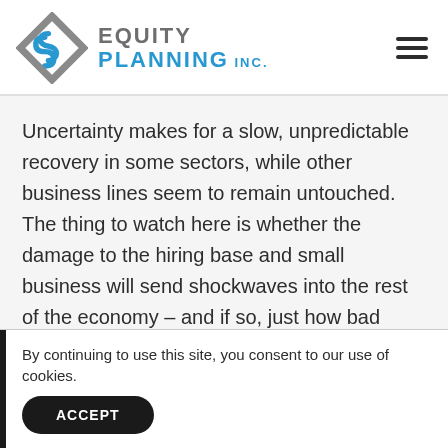EQUITY PLANNING INC.
Uncertainty makes for a slow, unpredictable recovery in some sectors, while other business lines seem to remain untouched. The thing to watch here is whether the damage to the hiring base and small business will send shockwaves into the rest of the economy – and if so, just how bad those shockwaves will be.
By continuing to use this site, you consent to our use of cookies.
ACCEPT